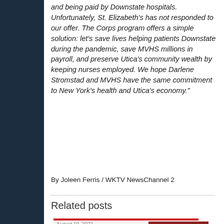and being paid by Downstate hospitals. Unfortunately, St. Elizabeth's has not responded to our offer. The Corps program offers a simple solution: let's save lives helping patients Downstate during the pandemic, save MVHS millions in payroll, and preserve Utica's community wealth by keeping nurses employed. We hope Darlene Stromstad and MVHS have the same commitment to New York's health and Utica's economy."
By Joleen Ferris / WKTV NewsChannel 2
Related posts
[Figure (screenshot): Related post card showing date August 10, 2022, headline text 'WHAT YOU MISSED ON' in bold, and a thumbnail image with a red 'TALK' graphic overlay]